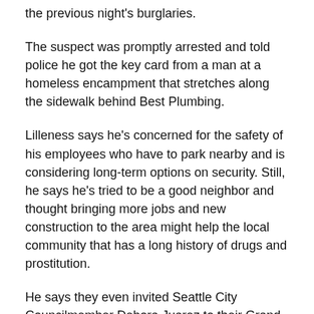the previous night's burglaries.
The suspect was promptly arrested and told police he got the key card from a man at a homeless encampment that stretches along the sidewalk behind Best Plumbing.
Lilleness says he's concerned for the safety of his employees who have to park nearby and is considering long-term options on security. Still, he says he's tried to be a good neighbor and thought bringing more jobs and new construction to the area might help the local community that has a long history of drugs and prostitution.
He says they even invited Seattle City Councilmember Debora Juarez to their Grand Opening last weekend.